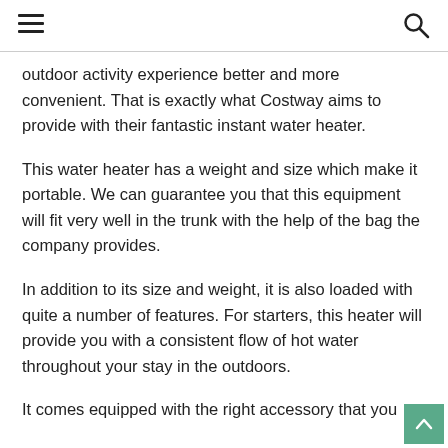[hamburger menu icon] [search icon]
outdoor activity experience better and more convenient. That is exactly what Costway aims to provide with their fantastic instant water heater.
This water heater has a weight and size which make it portable. We can guarantee you that this equipment will fit very well in the trunk with the help of the bag the company provides.
In addition to its size and weight, it is also loaded with quite a number of features. For starters, this heater will provide you with a consistent flow of hot water throughout your stay in the outdoors.
It comes equipped with the right accessory that you